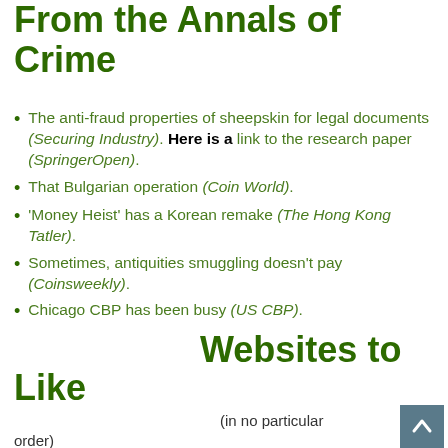From the Annals of Crime
The anti-fraud properties of sheepskin for legal documents (Securing Industry). Here is a link to the research paper (SpringerOpen).
That Bulgarian operation (Coin World).
'Money Heist' has a Korean remake (The Hong Kong Tatler).
Sometimes, antiquities smuggling doesn't pay (Coinsweekly).
Chicago CBP has been busy (US CBP).
Websites to Like
(in no particular order)